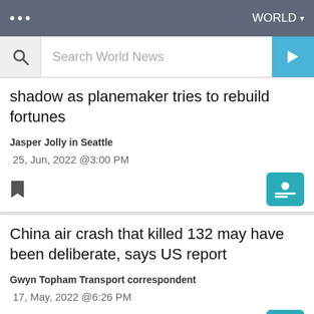... WORLD ▾
Search World News
shadow as planemaker tries to rebuild fortunes
Jasper Jolly in Seattle
25, Jun, 2022 @3:00 PM
China air crash that killed 132 may have been deliberate, says US report
Gwyn Topham Transport correspondent
17, May, 2022 @6:26 PM